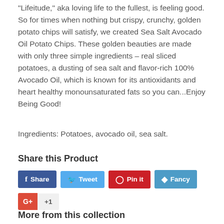“Lifeitude,” aka loving life to the fullest, is feeling good. So for times when nothing but crispy, crunchy, golden potato chips will satisfy, we created Sea Salt Avocado Oil Potato Chips. These golden beauties are made with only three simple ingredients – real sliced potatoes, a dusting of sea salt and flavor-rich 100% Avocado Oil, which is known for its antioxidants and heart healthy monounsaturated fats so you can...Enjoy Being Good!
Ingredients: Potatoes, avocado oil, sea salt.
Share this Product
[Figure (other): Social sharing buttons: Facebook Share, Twitter Tweet, Pinterest Pin it, Fancy, and Google +1]
More from this collection